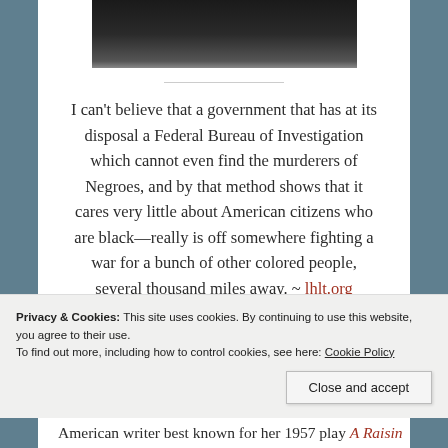[Figure (photo): Black and white photograph partially visible at top of page, showing a person in dark clothing]
I can't believe that a government that has at its disposal a Federal Bureau of Investigation which cannot even find the murderers of Negroes, and by that method shows that it cares very little about American citizens who are black—really is off somewhere fighting a war for a bunch of other colored people, several thousand miles away. ~ lhlt.org
Privacy & Cookies: This site uses cookies. By continuing to use this website, you agree to their use. To find out more, including how to control cookies, see here: Cookie Policy
American writer best known for her 1957 play A Raisin